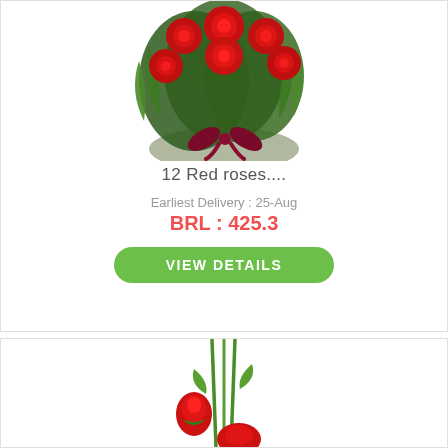[Figure (photo): Bouquet of 12 red roses with green foliage wrapped in grey paper, tied with a dark red ribbon bow, on white background]
12 Red roses....
Earliest Delivery : 25-Aug
BRL : 425.3
VIEW DETAILS
[Figure (photo): Single red rose bud with green stems and leaves on white background, partially visible]